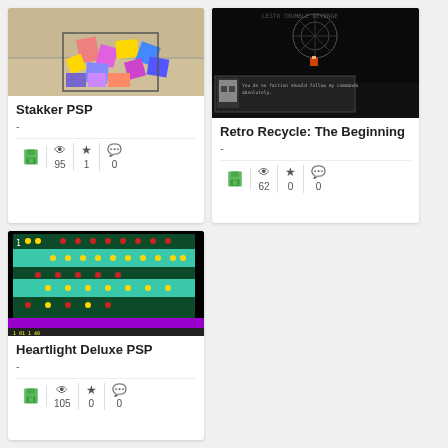[Figure (screenshot): Stakker PSP game screenshot showing colored blocks on a parchment/beige background]
Stakker PSP
-
[Figure (screenshot): Retro Recycle: The Beginning game screenshot showing dark screen with pixel art character and dialogue box]
Retro Recycle: The Beginning
-
[Figure (screenshot): Heartlight Deluxe PSP game screenshot showing green grid with red and yellow dots]
Heartlight Deluxe PSP
-